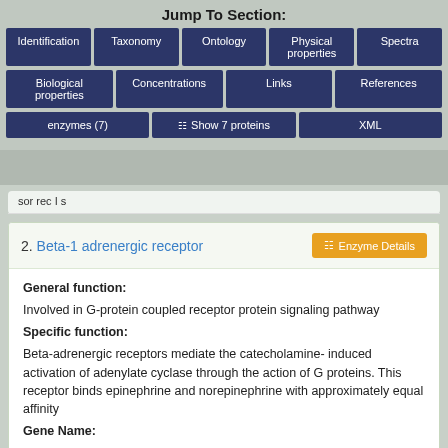Jump To Section:
Identification | Taxonomy | Ontology | Physical properties | Spectra
Biological properties | Concentrations | Links | References
enzymes (7) | Show 7 proteins | XML
sor rec I s
2. Beta-1 adrenergic receptor
General function:
Involved in G-protein coupled receptor protein signaling pathway
Specific function:
Beta-adrenergic receptors mediate the catecholamine- induced activation of adenylate cyclase through the action of G proteins. This receptor binds epinephrine and norepinephrine with approximately equal affinity
Gene Name: